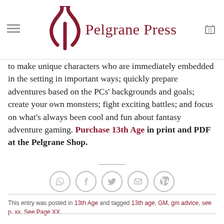Pelgrane Press
to make unique characters who are immediately embedded in the setting in important ways; quickly prepare adventures based on the PCs' backgrounds and goals; create your own monsters; fight exciting battles; and focus on what's always been cool and fun about fantasy adventure gaming. Purchase 13th Age in print and PDF at the Pelgrane Shop.
[Figure (other): Social sharing icons: WhatsApp, Facebook, Twitter, Email, Pinterest — circular outlined icons in a row]
This entry was posted in 13th Age and tagged 13th age, GM, gm advice, see p. xx, See Page XX.